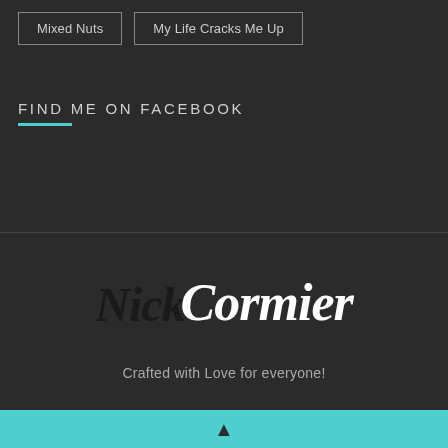Mixed Nuts
My Life Cracks Me Up
FIND ME ON FACEBOOK
[Figure (logo): Nick Cormier script logo in brush lettering — Nick in dark/black, Cormier in white]
Crafted with Love for everyone!
▲